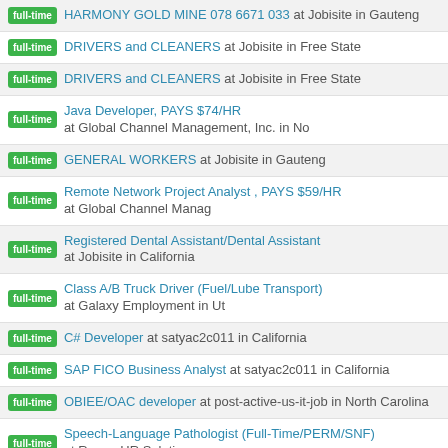full-time HARMONY GOLD MINE 078 6671 033 at Jobisite in Gauteng
full-time DRIVERS and CLEANERS at Jobisite in Free State
full-time DRIVERS and CLEANERS at Jobisite in Free State
full-time Java Developer, PAYS $74/HR at Global Channel Management, Inc. in No
full-time GENERAL WORKERS at Jobisite in Gauteng
full-time Remote Network Project Analyst , PAYS $59/HR at Global Channel Manag
full-time Registered Dental Assistant/Dental Assistant at Jobisite in California
full-time Class A/B Truck Driver (Fuel/Lube Transport) at Galaxy Employment in Ut
full-time C# Developer at satyac2c011 in California
full-time SAP FICO Business Analyst at satyac2c011 in California
full-time OBIEE/OAC developer at post-active-us-it-job in North Carolina
full-time Speech-Language Pathologist (Full-Time/PERM/SNF) at Ronan HR Soluti
full-time Python Backend Developer (Remote Latin) at Jobisite in Mexico
full-time Senior Representative, Client Processing at BNY Mellon in Pennsylvania
full-time Senior Representative, Business Technology Liaison at BNY Mellon in Uni